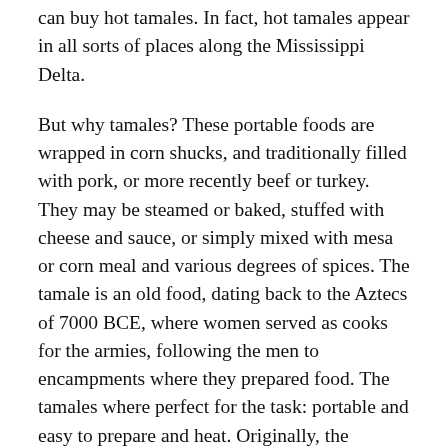can buy hot tamales. In fact, hot tamales appear in all sorts of places along the Mississippi Delta.
But why tamales? These portable foods are wrapped in corn shucks, and traditionally filled with pork, or more recently beef or turkey. They may be steamed or baked, stuffed with cheese and sauce, or simply mixed with mesa or corn meal and various degrees of spices. The tamale is an old food, dating back to the Aztecs of 7000 BCE, where women served as cooks for the armies, following the men to encampments where they prepared food. The tamales where perfect for the task: portable and easy to prepare and heat. Originally, the women buried the tamales in hot ashes – eventually they cooked or steamed them over-ground.
The tamales reached the African American community